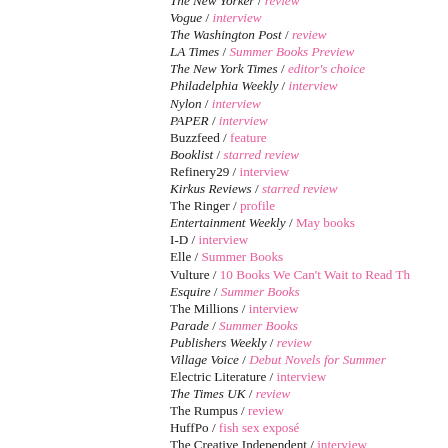The New Yorker / review
Vogue / interview
The Washington Post / review
LA Times / Summer Books Preview
The New York Times / editor's choice
Philadelphia Weekly / interview
Nylon / interview
PAPER / interview
Buzzfeed / feature
Booklist / starred review
Refinery29 / interview
Kirkus Reviews / starred review
The Ringer / profile
Entertainment Weekly / May books
I-D / interview
Elle / Summer Books
Vulture / 10 Books We Can't Wait to Read Th…
Esquire / Summer Books
The Millions / interview
Parade / Summer Books
Publishers Weekly / review
Village Voice / Debut Novels for Summer
Electric Literature / interview
The Times UK / review
The Rumpus / review
HuffPo / fish sex exposé
The Creative Independent / interview
LA Review of Books / interview
Bookforum / review